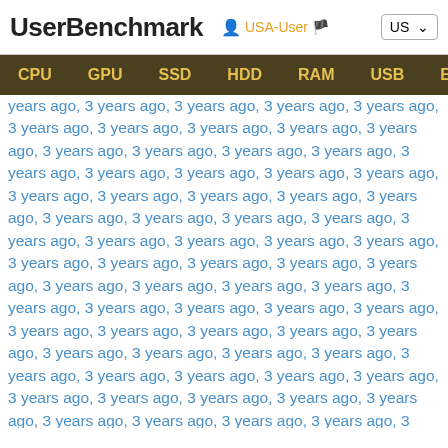UserBenchmark  USA-User  US
CPU  GPU  SSD  HDD  RAM  USB  EFPS  FPS  Sk
years ago, 3 years ago, 3 years ago, 3 years ago, 3 years ago, 3 years ago, 3 years ago, 3 years ago, 3 years ago, 3 years ago, 3 years ago, 3 years ago, ...